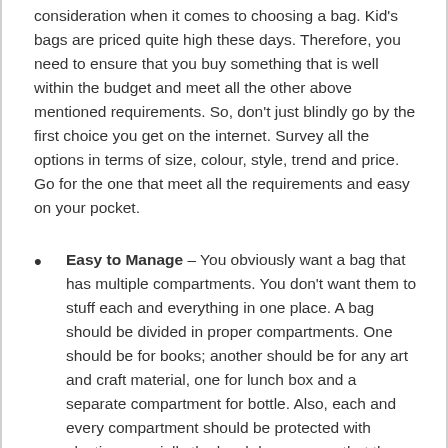consideration when it comes to choosing a bag. Kid's bags are priced quite high these days. Therefore, you need to ensure that you buy something that is well within the budget and meet all the other above mentioned requirements. So, don't just blindly go by the first choice you get on the internet. Survey all the options in terms of size, colour, style, trend and price. Go for the one that meet all the requirements and easy on your pocket.
Easy to Manage – You obviously want a bag that has multiple compartments. You don't want them to stuff each and everything in one place. A bag should be divided in proper compartments. One should be for books; another should be for any art and craft material, one for lunch box and a separate compartment for bottle. Also, each and every compartment should be protected with plastic, especially the lunch box one, so that the books are